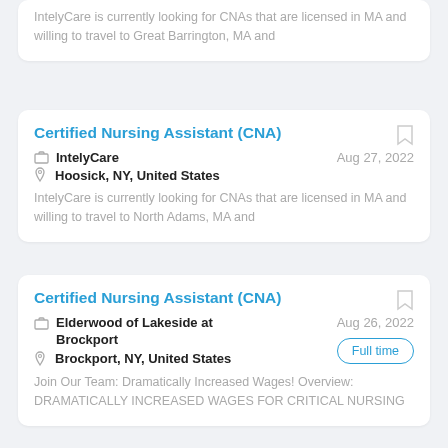IntelyCare is currently looking for CNAs that are licensed in MA and willing to travel to Great Barrington, MA and
Certified Nursing Assistant (CNA)
IntelyCare  Aug 27, 2022
Hoosick, NY, United States
IntelyCare is currently looking for CNAs that are licensed in MA and willing to travel to North Adams, MA and
Certified Nursing Assistant (CNA)
Elderwood of Lakeside at Brockport  Aug 26, 2022
Brockport, NY, United States
Full time
Join Our Team: Dramatically Increased Wages! Overview: DRAMATICALLY INCREASED WAGES FOR CRITICAL NURSING